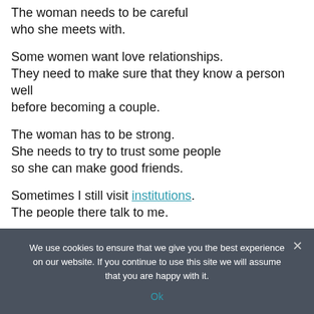The woman needs to be careful who she meets with.
Some women want love relationships. They need to make sure that they know a person well before becoming a couple.
The woman has to be strong. She needs to try to trust some people so she can make good friends.
Sometimes I still visit institutions. The people there talk to me. They tell me they want to leave. But they can't.
We use cookies to ensure that we give you the best experience on our website. If you continue to use this site we will assume that you are happy with it.